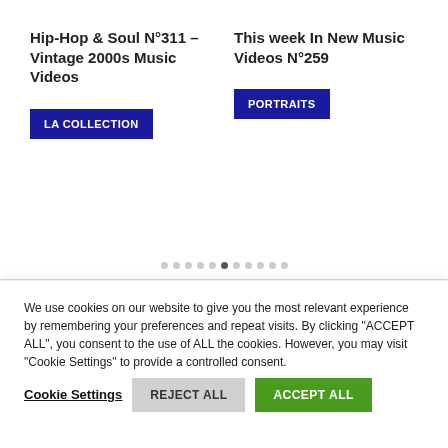Hip-Hop & Soul N°311 – Vintage 2000s Music Videos
LA COLLECTION
This week In New Music Videos N°259
PORTRAITS
We use cookies on our website to give you the most relevant experience by remembering your preferences and repeat visits. By clicking "ACCEPT ALL", you consent to the use of ALL the cookies. However, you may visit "Cookie Settings" to provide a controlled consent.
Cookie Settings
REJECT ALL
ACCEPT ALL